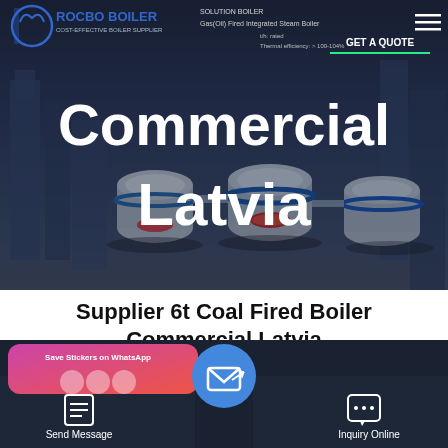[Figure (screenshot): Hero banner showing ROCBO BOILER branded website screenshot with industrial boiler equipment in background (dark blue/grey tones), overlaid with large white text reading 'Commercial Latvia'. Top-left shows ROCBO BOILER logo, top-right shows 'GET A QUOTE' button with green underline and product info text about Gas(Oil) Fired Integrated Steam Boiler.]
Supplier 6t Coal Fired Boiler Commercial Latvia
[Figure (screenshot): Bottom navigation bar with dark background. Left side shows WhatsApp sticker save card (pink/red gradient). Three navigation buttons: Send Message (left), central circular blue email icon button, Inquiry Online (right).]